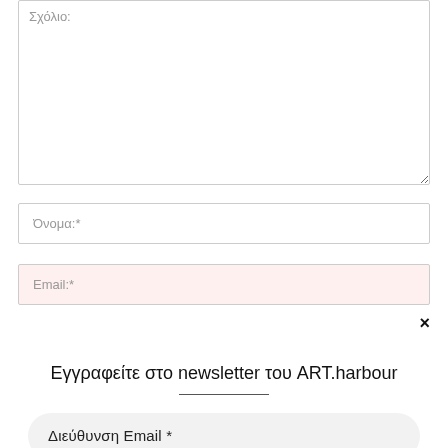Σχόλιο:
Όνομα:*
Email:*
×
Εγγραφείτε στο newsletter του ART.harbour
Διεύθυνση Email *